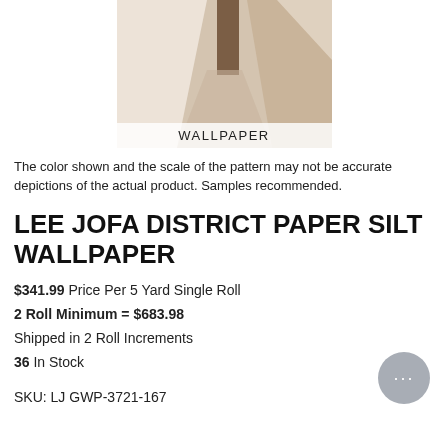[Figure (photo): Wallpaper product swatch showing geometric angular pattern in beige, tan, and brown tones with a 'WALLPAPER' label overlay at the bottom]
The color shown and the scale of the pattern may not be accurate depictions of the actual product. Samples recommended.
LEE JOFA DISTRICT PAPER SILT WALLPAPER
$341.99 Price Per 5 Yard Single Roll
2 Roll Minimum = $683.98
Shipped in 2 Roll Increments
36 In Stock
SKU: LJ GWP-3721-167